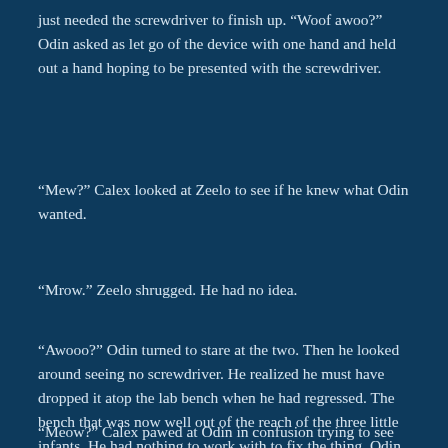just needed the screwdriver to finish up. “Woof awoo?” Odin asked as let go of the device with one hand and held out a hand hoping to be presented with the screwdriver.
“Mew?” Calex looked at Zeelo to see if he knew what Odin wanted.
“Mrow.” Zeelo shrugged. He had no idea.
“Awooo?” Odin turned to stare at the two. Then he looked around seeing no screwdriver. He realized he must have dropped it atop the lab bench when he had regressed. The bench that was now well out of the reach of the three little infants. He had nothing to work with to fix the thing. Odin slumped as he realized he might be stuck like this for a bit.
“Meow?” Calex pawed at Odin in confusion trying to see what